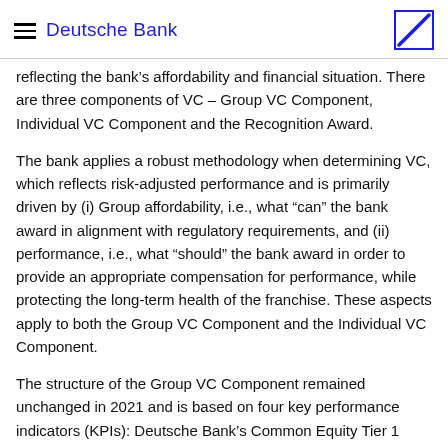Deutsche Bank
reflecting the bank’s affordability and financial situation. There are three components of VC – Group VC Component, Individual VC Component and the Recognition Award.
The bank applies a robust methodology when determining VC, which reflects risk-adjusted performance and is primarily driven by (i) Group affordability, i.e., what “can” the bank award in alignment with regulatory requirements, and (ii) performance, i.e., what “should” the bank award in order to provide an appropriate compensation for performance, while protecting the long-term health of the franchise. These aspects apply to both the Group VC Component and the Individual VC Component.
The structure of the Group VC Component remained unchanged in 2021 and is based on four key performance indicators (KPIs): Deutsche Bank’s Common Equity Tier 1 capital ratio leverage ratio, adjusted costs and post-tax return on tangible equity. In line